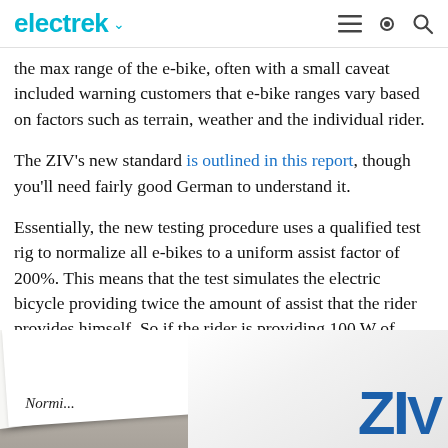electrek
the max range of the e-bike, often with a small caveat included warning customers that e-bike ranges vary based on factors such as terrain, weather and the individual rider.
The ZIV's new standard is outlined in this report, though you'll need fairly good German to understand it.
Essentially, the new testing procedure uses a qualified test rig to normalize all e-bikes to a uniform assist factor of 200%. This means that the test simulates the electric bicycle providing twice the amount of assist that the rider provides himself. So if the rider is providing 100 W of power, a typical amount for a casual cyclist, the e-bike would provide 200 W of assistance for a total combined human/e-bike hybrid output of 300 W.
[Figure (photo): Photo of documents on a wooden table showing ZIV logo and text 'Normi...' on a white paper sheet]